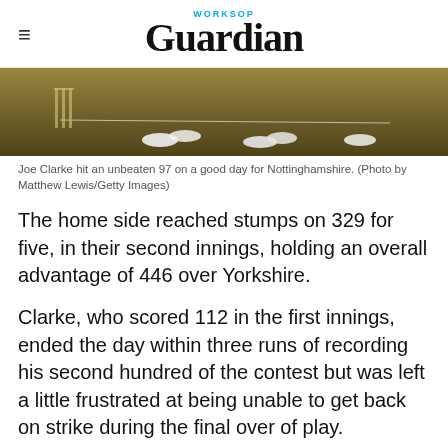WORKSOP Guardian
[Figure (photo): Cricket match photo showing players' feet and lower legs on a cricket pitch, cropped at top]
Joe Clarke hit an unbeaten 97 on a good day for Nottinghamshire. (Photo by Matthew Lewis/Getty Images)
The home side reached stumps on 329 for five, in their second innings, holding an overall advantage of 446 over Yorkshire.
Clarke, who scored 112 in the first innings, ended the day within three runs of recording his second hundred of the contest but was left a little frustrated at being unable to get back on strike during the final over of play.